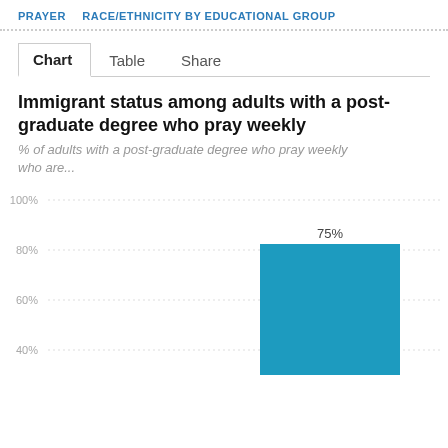PRAYER   RACE/ETHNICITY BY EDUCATIONAL GROUP
Chart   Table   Share
Immigrant status among adults with a post-graduate degree who pray weekly
% of adults with a post-graduate degree who pray weekly who are...
[Figure (bar-chart): Immigrant status among adults with a post-graduate degree who pray weekly]